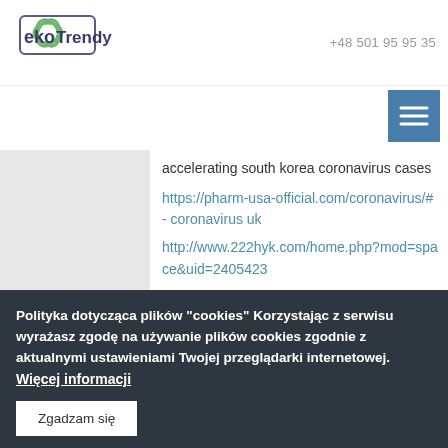[Figure (logo): Eko Trendy logo with green clover/flower shape and text 'eko Trendy' in a rounded rectangle border]
+48 501 95 95 35
[Figure (other): Hamburger menu button (three horizontal lines) on blue/teal background]
accelerating south korea coronavirus cases
https://pharm-usa-official.com/coronavirus/# - coronavirus uk
http://www.222hyk.com/home.php?mod=space&uid=2405423
https://www.advocatearound.com/australia-advocate/drew-gleeson-legal-0a1...
Polityka dotycząca plików "cookies" Korzystając z serwisu wyrażasz zgodę na używanie plików cookies zgodnie z aktualnymi ustawieniami Twojej przeglądarki internetowej. Więcej informacji
Zgadzam się